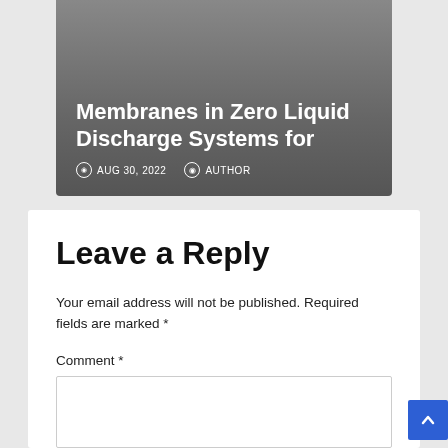Membranes in Zero Liquid Discharge Systems for
AUG 30, 2022   AUTHOR
Leave a Reply
Your email address will not be published. Required fields are marked *
Comment *